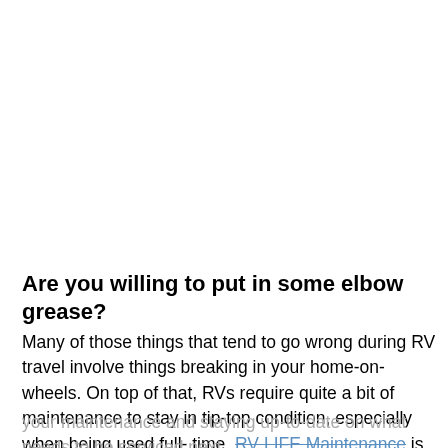Are you willing to put in some elbow grease?
Many of those things that tend to go wrong during RV travel involve things breaking in your home-on-wheels. On top of that, RVs require quite a bit of maintenance to stay in tip-top condition, especially when being used full-time. RV LIFE Maintenance is a great tool for tracking your maintenance and staying up-to-date on what needs to be serviced next.